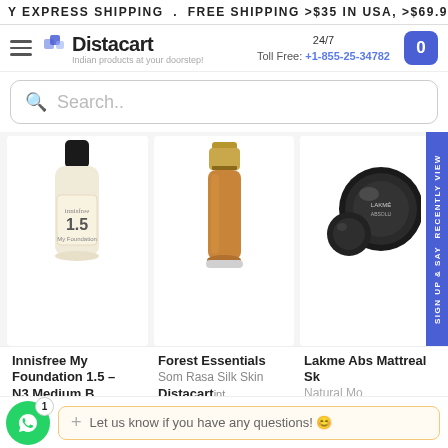Y EXPRESS SHIPPING . FREE SHIPPING >$35 IN USA, >$69.99
[Figure (screenshot): Distacart website navigation bar with hamburger menu, logo, 24/7 toll free number +1-855-25-34782, and cart button]
Search..
[Figure (photo): Innisfree My Foundation 1.5 product bottle]
[Figure (photo): Forest Essentials Som Rasa Silk Skin product bottle with gold cap]
[Figure (photo): Lakme Absolute Mattreal Skin Natural Mousse compact product]
Innisfree My Foundation 1.5 – N3 Medium B
Forest Essentials Som Rasa Silk Skin Tint
Lakme Absolute Mattreal Skin Natural Mo
Let us know if you have any questions! 😊